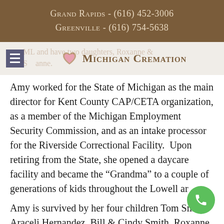Grand Rapids - (616) 452-3006
Greenville - (616) 754-5638
[Figure (logo): Michigan Cremation logo with pink heart icon and small-caps text, hamburger menu icon on left, ghost text overlay showing partial obituary text]
Amy worked for the State of Michigan as the main director for Kent County CAP/CETA organization, as a member of the Michigan Employment Security Commission, and as an intake processor for the Riverside Correctional Facility.  Upon retiring from the State, she opened a daycare facility and became the “Grandma” to a couple of generations of kids throughout the Lowell ar
Amy is survived by her four children Tom Sm & Araceli Hernandez, Bill & Cindy Smith, Roxanne